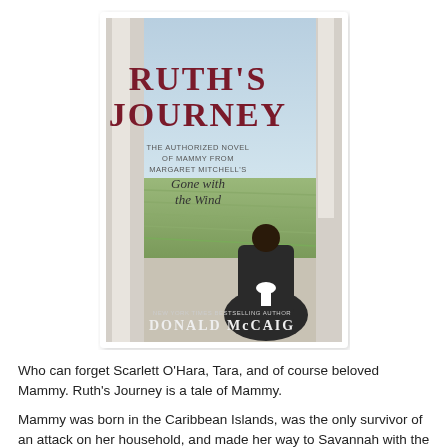[Figure (illustration): Book cover of 'Ruth's Journey' by Donald McCaig. The cover shows a dark-dressed woman with a white apron bow seen from behind, standing on a porch looking out over a cotton field. Title text in large dark red letters reads 'RUTH'S JOURNEY'. Subtitle reads 'The Authorized Novel of Mammy from Margaret Mitchell's Gone with the Wind'. Author name at bottom: 'NEW YORK TIMES BESTSELLING AUTHOR DONALD McCAIG'.]
Who can forget Scarlett O'Hara, Tara, and of course beloved Mammy. Ruth's Journey is a tale of Mammy.
Mammy was born in the Caribbean Islands, was the only survivor of an attack on her household, and made her way to Savannah with the Forniers.  As their "child" she was treated well, but was sold to another family.